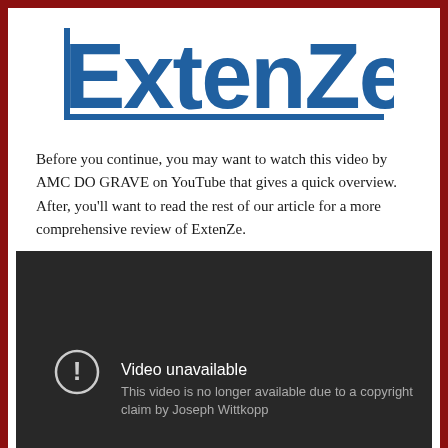[Figure (logo): ExtenZe brand logo in blue text with underline/box styling]
Before you continue, you may want to watch this video by AMC DO GRAVE on YouTube that gives a quick overview. After, you'll want to read the rest of our article for a more comprehensive review of ExtenZe.
[Figure (screenshot): Embedded YouTube video player showing 'Video unavailable - This video is no longer available due to a copyright claim by Joseph Wittkopp']